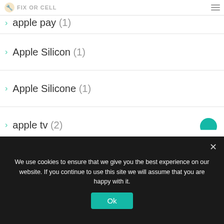FIX OR CELL
apple pay (1)
Apple Silicon (1)
Apple Silicone (1)
apple tv (2)
Apple TV 4 (1)
Apple Watch (1)
apple watch se (1)
Apple Watch Series (1)
We use cookies to ensure that we give you the best experience on our website. If you continue to use this site we will assume that you are happy with it.
Ok